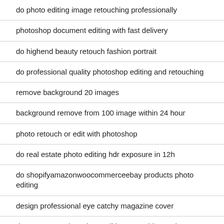do photo editing image retouching professionally
photoshop document editing with fast delivery
do highend beauty retouch fashion portrait
do professional quality photoshop editing and retouching
remove background 20 images
background remove from 100 image within 24 hour
photo retouch or edit with photoshop
do real estate photo editing hdr exposure in 12h
do shopifyamazonwoocommerceebay products photo editing
design professional eye catchy magazine cover
do amazon product photo editing retouching and